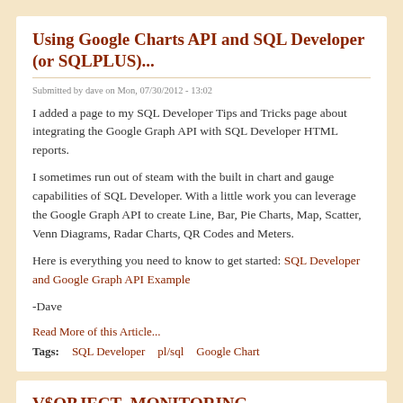Using Google Charts API and SQL Developer (or SQLPLUS)...
Submitted by dave on Mon, 07/30/2012 - 13:02
I added a page to my SQL Developer Tips and Tricks page about integrating the Google Graph API with SQL Developer HTML reports.
I sometimes run out of steam with the built in chart and gauge capabilities of SQL Developer. With a little work you can leverage the Google Graph API to create Line, Bar, Pie Charts, Map, Scatter, Venn Diagrams, Radar Charts, QR Codes and Meters.
Here is everything you need to know to get started: SQL Developer and Google Graph API Example
-Dave
Read More of this Article...
Tags:   SQL Developer   pl/sql   Google Chart
V$OBJECT_MONITORING...